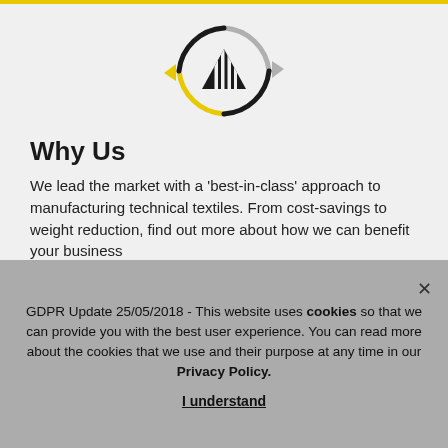[Figure (logo): Circular recycling-arrow logo with a stylized mountain/textile mark in the center. Top-right arrow is grey, bottom-left arrow is yellow, left arrow and mark are black.]
Why Us
We lead the market with a ‘best-in-class’ approach to manufacturing technical textiles. From cost-savings to weight reduction, find out more about how we can benefit your business
GDPR Update 25/05/2018 - This website uses cookies so that we can provide you with the best user experience. You can read more about the cookies that we use and their purpose at any time in our Privacy Policy.
I understand